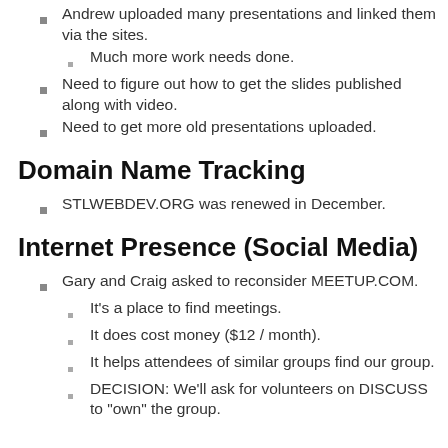Andrew uploaded many presentations and linked them via the sites.
Much more work needs done.
Need to figure out how to get the slides published along with video.
Need to get more old presentations uploaded.
Domain Name Tracking
STLWEBDEV.ORG was renewed in December.
Internet Presence (Social Media)
Gary and Craig asked to reconsider MEETUP.COM.
It's a place to find meetings.
It does cost money ($12 / month).
It helps attendees of similar groups find our group.
DECISION: We'll ask for volunteers on DISCUSS to "own" the group.